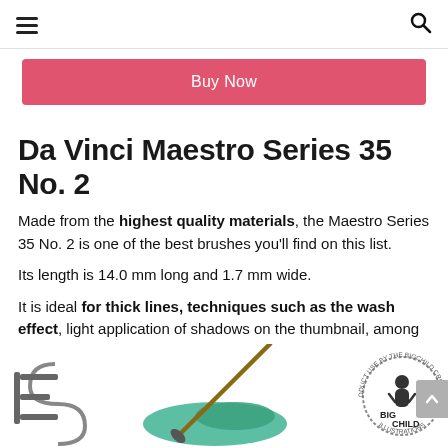hamburger menu | search icon
Buy Now
Da Vinci Maestro Series 35 No. 2
Made from the highest quality materials, the Maestro Series 35 No. 2 is one of the best brushes you’ll find on this list.
Its length is 14.0 mm long and 1.7 mm wide.
It is ideal for thick lines, techniques such as the wash effect, light application of shadows on the thumbnail, among other functions.
[Figure (illustration): Bottom section showing partial brand logo letters on left, a paint brush with green paint stroke in center, and a circular Big Child Creatives stamp logo on the right.]